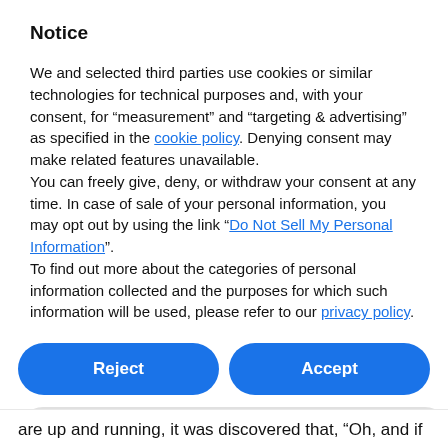Notice
We and selected third parties use cookies or similar technologies for technical purposes and, with your consent, for “measurement” and “targeting & advertising” as specified in the cookie policy. Denying consent may make related features unavailable.
You can freely give, deny, or withdraw your consent at any time. In case of sale of your personal information, you may opt out by using the link “Do Not Sell My Personal Information”.
To find out more about the categories of personal information collected and the purposes for which such information will be used, please refer to our privacy policy.
Reject
Accept
Learn more and customize
are up and running, it was discovered that, “Oh, and if